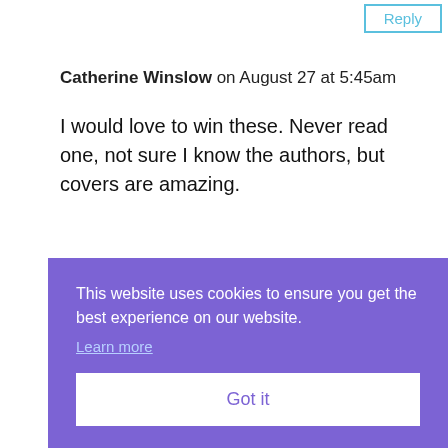Reply
Catherine Winslow on August 27 at 5:45am
I would love to win these. Never read one, not sure I know the authors, but covers are amazing.
Reply
This website uses cookies to ensure you get the best experience on our website.
Learn more
Got it